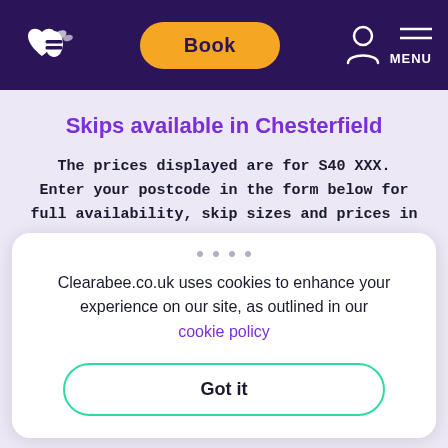Clearabee website header with logo, Book button, user icon, and MENU
Skips available in Chesterfield
The prices displayed are for S40 XXX. Enter your postcode in the form below for full availability, skip sizes and prices in your area.
Clearabee.co.uk uses cookies to enhance your experience on our site, as outlined in our cookie policy
Got it